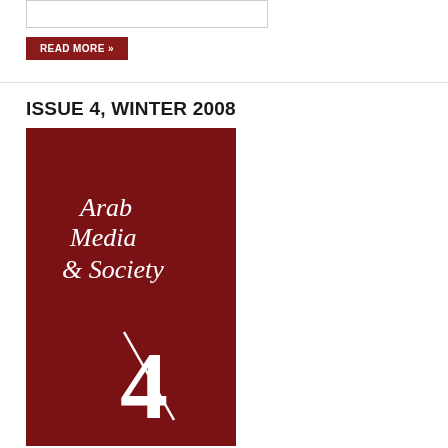[Figure (other): Empty bordered input box or text field at top of page]
READ MORE »
ISSUE 4, WINTER 2008
[Figure (illustration): Cover of Arab Media & Society journal, Issue 4, Winter 2008. Deep red/maroon background with white serif text reading 'Arab Media & Society' and a large white numeral '4' with a diagonal slash.]